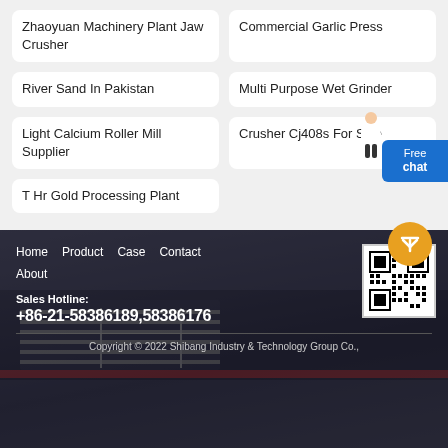Zhaoyuan Machinery Plant Jaw Crusher
Commercial Garlic Press
River Sand In Pakistan
Multi Purpose Wet Grinder
Light Calcium Roller Mill Supplier
Crusher Cj408s For Sale
T Hr Gold Processing Plant
Home   Product   Case   Contact   About
Sales Hotline:
+86-21-58386189,58386176
Copyright © 2022 Shibang Industry & Technology Group Co.,